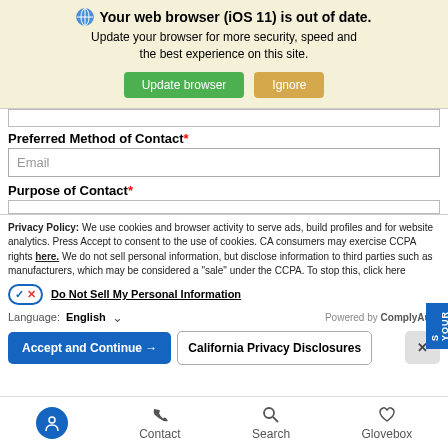[Figure (screenshot): Browser update notification banner with globe icon, bold title 'Your web browser (iOS 11) is out of date.', subtitle text, and two buttons: 'Update browser' (green) and 'Ignore' (tan/gold)]
Preferred Method of Contact*
Email (input placeholder)
Purpose of Contact*
Privacy Policy: We use cookies and browser activity to serve ads, build profiles and for website analytics. Press Accept to consent to the use of cookies. CA consumers may exercise CCPA rights here. We do not sell personal information, but disclose information to third parties such as manufacturers, which may be considered a "sale" under the CCPA. To stop this, click here
Do Not Sell My Personal Information
Language: English  Powered by ComplyAuto
Accept and Continue → | California Privacy Disclosures | ×
[Figure (screenshot): Bottom navigation bar with icons for accessibility, Contact, Search, and Glovebox]